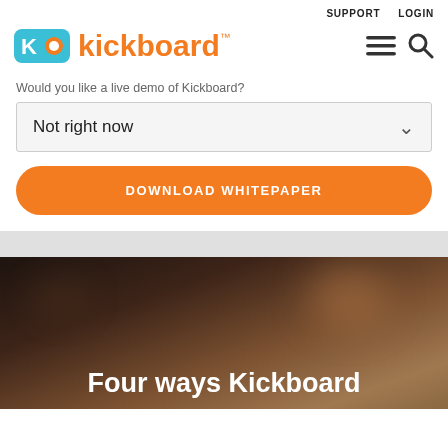SUPPORT    LOGIN
[Figure (logo): Kickboard logo with orange K icon in teal background and orange text]
Would you like a live demo of Kickboard?
Not right now
DOWNLOAD WHITEPAPER
Four ways Kickboard